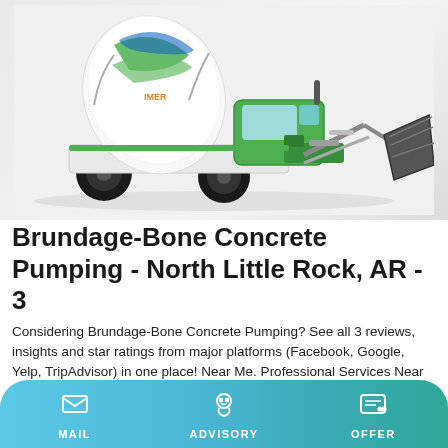[Figure (photo): A green and white self-loading concrete mixer truck with a large front bucket/loader attachment, shown on a light gray background]
Brundage-Bone Concrete Pumping - North Little Rock, AR - 3
Considering Brundage-Bone Concrete Pumping? See all 3 reviews, insights and star ratings from major platforms (Facebook, Google, Yelp, TripAdvisor) in one place! Near Me. Professional Services Near Me. Share. Brundage-Bone Concrete Pumping. Brundage-Bone Concrete Pumping. 5.0. 3 reviews.
MAIL | ADVISORY | OFFER